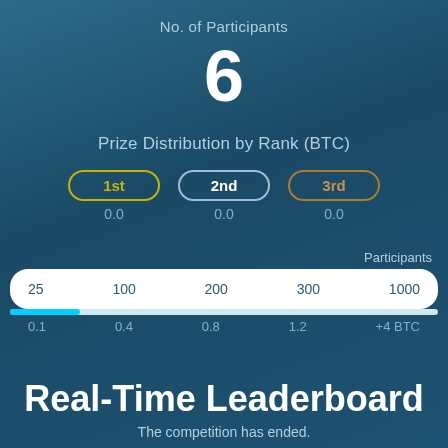No. of Participants
6
Prize Distribution by Rank (BTC)
1st 0.0   2nd 0.0   3rd 0.0
Participants
[Figure (infographic): A horizontal slider/scale showing participant counts (25, 100, 200, 300, 1000) on a white pill-shaped track, with a blue progress bar below showing BTC values (0.1, 0.4, 0.8, 1.2, +4 BTC). The blue fill is near the leftmost position.]
Real-Time Leaderboard
The competition has ended.